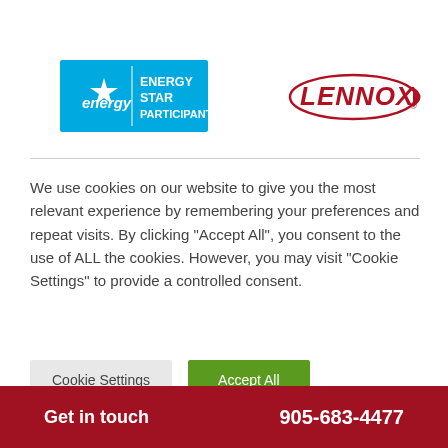[Figure (logo): ENERGY STAR Participant logo - blue background with white star and text ENERGY STAR PARTICIPANT]
[Figure (logo): Lennox logo - red italic bold text LENNOX with oval border]
We use cookies on our website to give you the most relevant experience by remembering your preferences and repeat visits. By clicking “Accept All”, you consent to the use of ALL the cookies. However, you may visit "Cookie Settings" to provide a controlled consent.
Cookie Settings
Accept All
Get in touch 905-683-4477